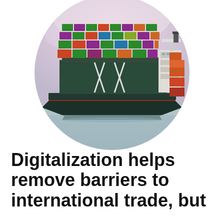[Figure (photo): A large container ship loaded with colorful shipping containers (green, purple, red, orange, blue) sailing on calm water, photographed against a pale pink/purple sky. The image is cropped in a circular shape.]
Digitalization helps remove barriers to international trade, but